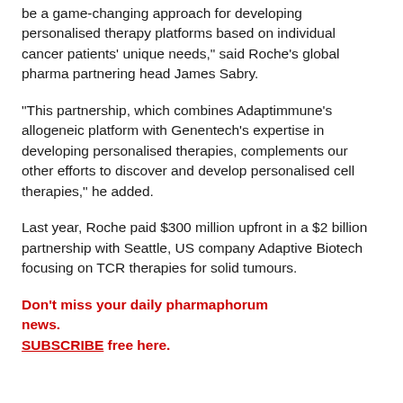be a game-changing approach for developing personalised therapy platforms based on individual cancer patients' unique needs," said Roche's global pharma partnering head James Sabry.
“This partnership, which combines Adaptimmune’s allogeneic platform with Genentech’s expertise in developing personalised therapies, complements our other efforts to discover and develop personalised cell therapies,” he added.
Last year, Roche paid $300 million upfront in a $2 billion partnership with Seattle, US company Adaptive Biotech focusing on TCR therapies for solid tumours.
Don't miss your daily pharmaphorum news.
SUBSCRIBE free here.